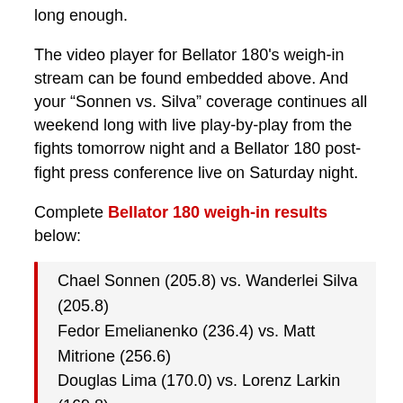long enough.
The video player for Bellator 180's weigh-in stream can be found embedded above. And your “Sonnen vs. Silva” coverage continues all weekend long with live play-by-play from the fights tomorrow night and a Bellator 180 post-fight press conference live on Saturday night.
Complete Bellator 180 weigh-in results below:
Chael Sonnen (205.8) vs. Wanderlei Silva (205.8)
Fedor Emelianenko (236.4) vs. Matt Mitrione (256.6)
Douglas Lima (170.0) vs. Lorenz Larkin (169.8)
Michael Chandler (153.8) vs. Brent Primus (154.2)
Aaron Pico (156.0) vs. Zach Freeman (155.8)
Phil Davis (204.8) vs. Ryan Bader (204.4)
James Gallagher (144.4) vs. Chinzo Machida